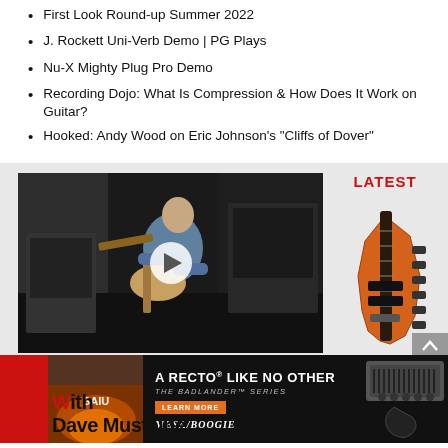First Look Round-up Summer 2022
J. Rockett Uni-Verb Demo | PG Plays
Nu-X Mighty Plug Pro Demo
Recording Dojo: What Is Compression & How Does It Work on Guitar?
Hooked: Andy Wood on Eric Johnson's "Cliffs of Dover"
[Figure (screenshot): Video thumbnail showing a guitarist playing a Stratocaster-style guitar in front of amplifiers, with a play button overlay]
LATEST
[Figure (photo): Orange/natural wood colored angular electric guitar (headless style) against white background]
[Figure (photo): Mesa/Boogie Badlander Series advertisement showing a black guitar amp head and an electric guitar. Text: A RECTO LIKE NO OTHER / THE BADLANDER SERIES / LEARN MORE / MESA/BOOGIE]
Dave Mustaine